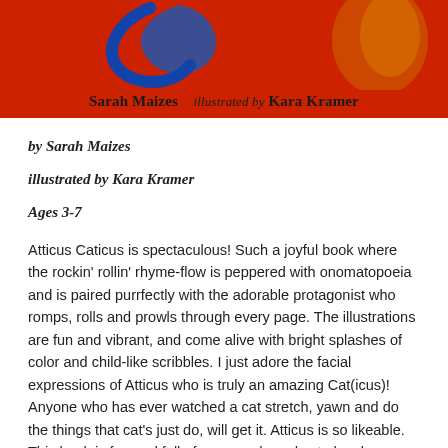[Figure (illustration): Book cover with red background showing a blue swirl/cat shape, author name Sarah Maizes and illustrator Kara Kramer]
by Sarah Maizes
illustrated by Kara Kramer
Ages 3-7
Atticus Caticus is spectaculous! Such a joyful book where the rockin' rollin' rhyme-flow is peppered with onomatopoeia and is paired purrfectly with the adorable protagonist who romps, rolls and prowls through every page. The illustrations are fun and vibrant, and come alive with bright splashes of color and child-like scribbles. I just adore the facial expressions of Atticus who is truly an amazing Cat(icus)! Anyone who has ever watched a cat stretch, yawn and do the things that cat's just do, will get it. Atticus is so likeable. This book is fun and full of new words and cat-chy phrases that will have everyone wanting to rush